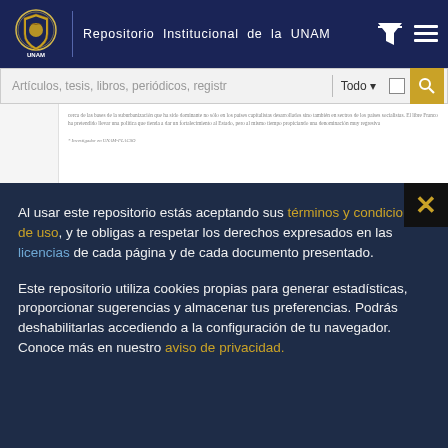Repositorio Institucional de la UNAM
[Figure (screenshot): Partial document page preview showing blurred Spanish text in a journal article]
Al usar este repositorio estás aceptando sus términos y condiciones de uso, y te obligas a respetar los derechos expresados en las licencias de cada página y de cada documento presentado.
Este repositorio utiliza cookies propias para generar estadísticas, proporcionar sugerencias y almacenar tus preferencias. Podrás deshabilitarlas accediendo a la configuración de tu navegador. Conoce más en nuestro aviso de privacidad.